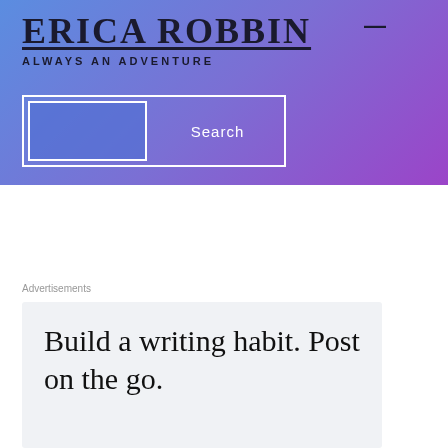ERICA ROBBIN
ALWAYS AN ADVENTURE
[Figure (screenshot): Search bar with input box and Search button on gradient background]
Advertisements
Build a writing habit. Post on the go.